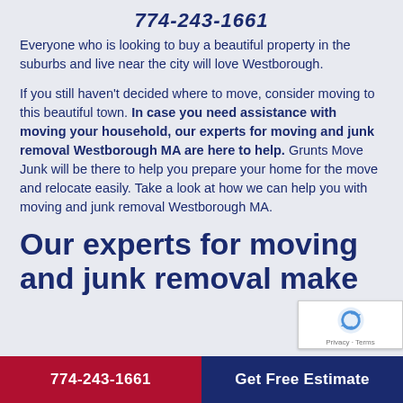774-243-1661
Everyone who is looking to buy a beautiful property in the suburbs and live near the city will love Westborough.
If you still haven't decided where to move, consider moving to this beautiful town. In case you need assistance with moving your household, our experts for moving and junk removal Westborough MA are here to help. Grunts Move Junk will be there to help you prepare your home for the move and relocate easily. Take a look at how we can help you with moving and junk removal Westborough MA.
Our experts for moving and junk removal make
774-243-1661   Get Free Estimate